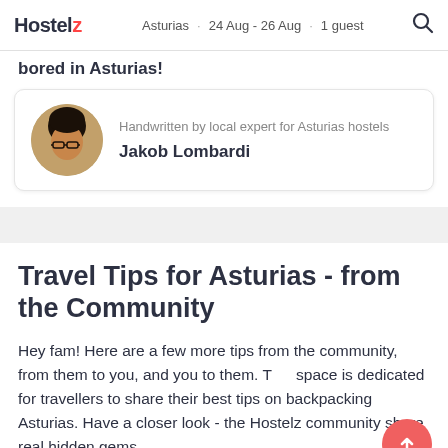Hostelz · Asturias · 24 Aug - 26 Aug · 1 guest
bored in Asturias!
Handwritten by local expert for Asturias hostels
Jakob Lombardi
Travel Tips for Asturias - from the Community
Hey fam! Here are a few more tips from the community, from them to you, and you to them. This space is dedicated for travellers to share their best tips on backpacking Asturias. Have a closer look - the Hostelz community share real hidden gems,